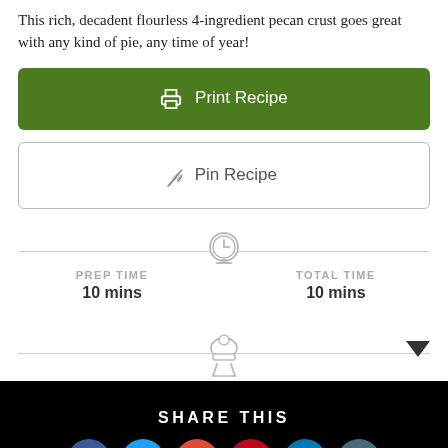This rich, decadent flourless 4-ingredient pecan crust goes great with any kind of pie, any time of year!
Print Recipe
Pin Recipe
PREP TIME
10 mins
TOTAL TIME
10 mins
SHARE THIS
[Figure (infographic): Social sharing icons row: Facebook (blue), Twitter (cyan), Google+ (orange-red), Pinterest (red), LinkedIn (blue), Digg (dark blue-gray)]